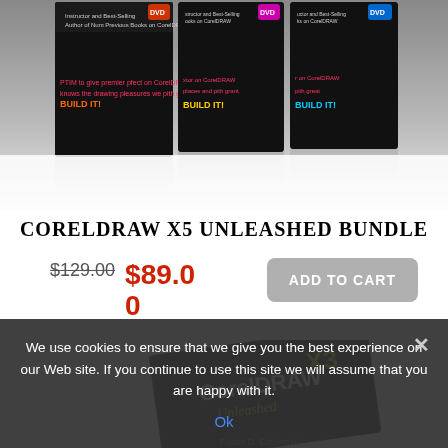[Figure (photo): Three CorelDRAW X5 Unleashed DVD product boxes shown side by side at the top of the page]
CORELDRAW X5 UNLEASHED BUNDLE
$129.00  $89.00
ADD TO CART
[Figure (photo): CorelDRAW X3 Unleashed book cover shown partially at the bottom of the page]
We use cookies to ensure that we give you the best experience on our Web site. If you continue to use this site we will assume that you are happy with it.
Ok